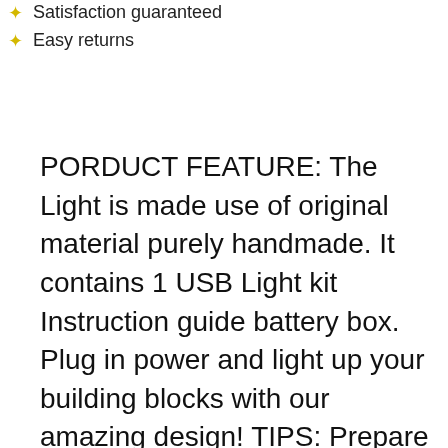Satisfaction guaranteed
Easy returns
PORDUCT FEATURE: The Light is made use of original material purely handmade. It contains 1 USB Light kit Instruction guide battery box. Plug in power and light up your building blocks with our amazing design! TIPS: Prepare three AA Batteries or USB Charger and Voltage should be less than 5V to avoid burning. Manufactured by LIGHTAILING. INSTALLATION INSTRUCTION: The light set installation is done to your preference. Please install your led light carefully be